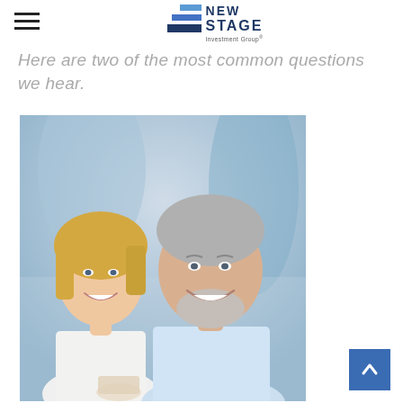New Stage Investment Group
Here are two of the most common questions we hear.
[Figure (photo): Middle-aged couple smiling, woman with blonde hair in white top, man with grey hair and beard in light blue shirt, holding coffee cups]
Back to top button